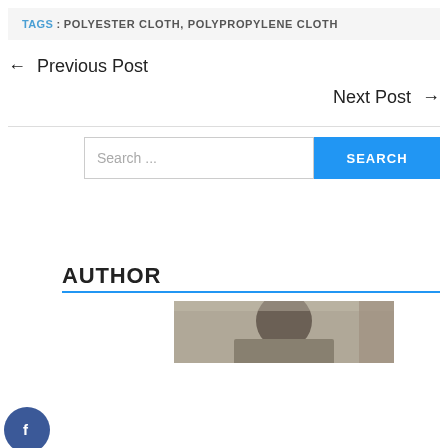TAGS : POLYESTER CLOTH, POLYPROPYLENE CLOTH
← Previous Post
Next Post →
Search ...
AUTHOR
[Figure (photo): Partial photo of a person, partially cropped, at bottom of page]